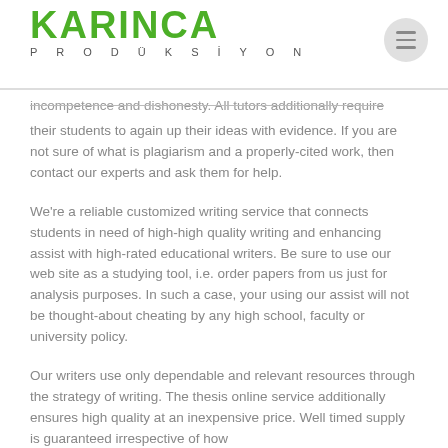KARINCA PRODÜKSIYON
incompetence and dishonesty. All tutors additionally require their students to again up their ideas with evidence. If you are not sure of what is plagiarism and a properly-cited work, then contact our experts and ask them for help.
We're a reliable customized writing service that connects students in need of high-high quality writing and enhancing assist with high-rated educational writers. Be sure to use our web site as a studying tool, i.e. order papers from us just for analysis purposes. In such a case, your using our assist will not be thought-about cheating by any high school, faculty or university policy.
Our writers use only dependable and relevant resources through the strategy of writing. The thesis online service additionally ensures high quality at an inexpensive price. Well timed supply is guaranteed irrespective of how